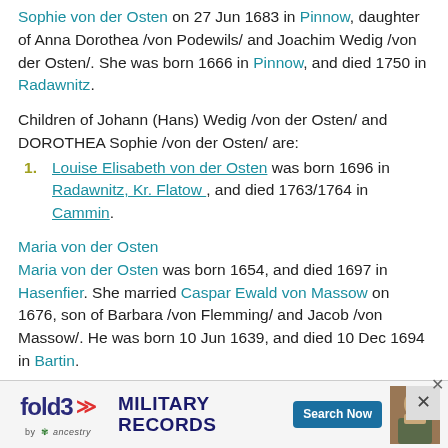Sophie von der Osten on 27 Jun 1683 in Pinnow, daughter of Anna Dorothea /von Podewils/ and Joachim Wedig /von der Osten/. She was born 1666 in Pinnow, and died 1750 in Radawnitz.
Children of Johann (Hans) Wedig /von der Osten/ and DOROTHEA Sophie /von der Osten/ are:
Louise Elisabeth von der Osten was born 1696 in Radawnitz, Kr. Flatow , and died 1763/1764 in Cammin.
Maria von der Osten was born 1654, and died 1697 in Hasenfier. She married Caspar Ewald von Massow on 1676, son of Barbara /von Flemming/ and Jacob /von Massow/. He was born 10 Jun 1639, and died 10 Dec 1694 in Bartin.
Children of Maria /von der Osten/ and Caspar Ewald /von Massow/ are:
Est... d 1752.
[Figure (screenshot): Fold3 Military Records advertisement banner with ancestry.com branding, Search Now button, and soldier photo]